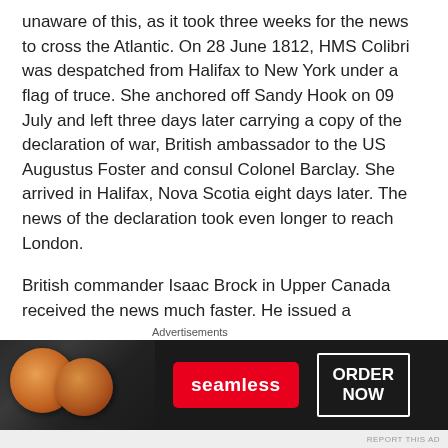unaware of this, as it took three weeks for the news to cross the Atlantic. On 28 June 1812, HMS Colibri was despatched from Halifax to New York under a flag of truce. She anchored off Sandy Hook on 09 July and left three days later carrying a copy of the declaration of war, British ambassador to the US Augustus Foster and consul Colonel Barclay. She arrived in Halifax, Nova Scotia eight days later. The news of the declaration took even longer to reach London.
British commander Isaac Brock in Upper Canada received the news much faster. He issued a proclamation alerting citizens to the state of war and urging all military personnel “to be vigilant in
[Figure (other): Seamless food delivery advertisement banner with pizza images, Seamless logo button, and ORDER NOW button on dark background]